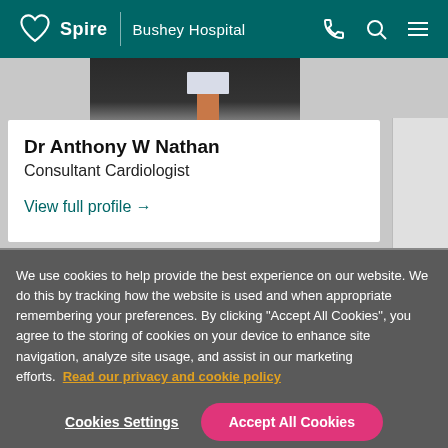Spire | Bushey Hospital
[Figure (photo): Partial view of doctor in dark suit with orange/peach tie, only upper torso and head partially visible at top of card.]
Dr Anthony W Nathan
Consultant Cardiologist
View full profile →
We use cookies to help provide the best experience on our website. We do this by tracking how the website is used and when appropriate remembering your preferences. By clicking "Accept All Cookies", you agree to the storing of cookies on your device to enhance site navigation, analyze site usage, and assist in our marketing efforts.  Read our privacy and cookie policy
Cookies Settings
Accept All Cookies